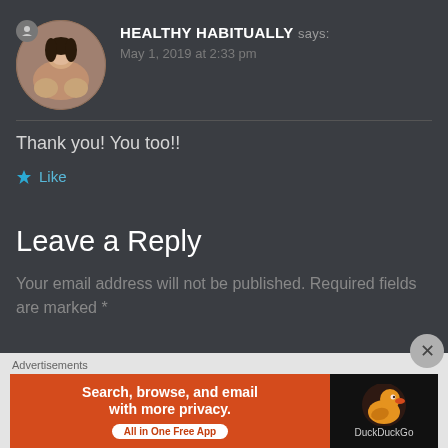HEALTHY HABITUALLY says:
May 1, 2019 at 2:33 pm
Thank you! You too!!
Like
Leave a Reply
Your email address will not be published. Required fields are marked *
[Figure (other): DuckDuckGo advertisement banner: orange panel with text 'Search, browse, and email with more privacy. All in One Free App' and DuckDuckGo logo on dark panel]
Advertisements